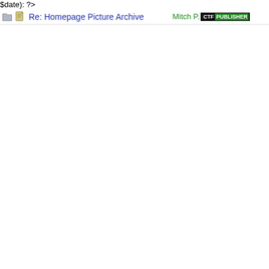Re: Homepage Picture Archive — Mitch P. CTF PUBLISHER 07/0…
Re: Homepage Picture Archive — Mitch P. CTF PUBLISHER 08/2…
Re: Homepage Picture Archive — Mitch P. CTF PUBLISHER 09/1…
Re: Homepage Picture Archive — Mitch P. CTF PUBLISHER 09/2…
Re: Homepage Picture Archive — Mitch P. CTF PUBLISHER 10/1…
Re: Homepage Picture Archive — Mitch P. CTF PUBLISHER 10/1…
Re: Homepage Picture Archive — Mitch P. CTF PUBLISHER 11/1…
Re: Homepage Picture Archive — Mitch P. CTF PUBLISHER 12/2…
Re: Homepage Picture Archive — Mitch P. CTF PUBLISHER 01/0…
Re: Homepage Picture Archive — Mitch P. CTF PUBLISHER 01/2…
Re: Homepage Picture Archive — Mitch P. CTF PUBLISHER 02/0…
Re: Homepage Picture Archive — Mitch P. CTF PUBLISHER 03/0…
Re: Homepage Picture Archive — Mitch P. CTF PUBLISHER 04/0…
Re: Homepage Picture Archive — Mitch P. CTF PUBLISHER 04/1…
Re: Homepage Picture Archive — Mitch P. CTF PUBLISHER 05/1…
Re: Homepage Picture Archive — Mitch P. CTF PUBLISHER 06/2…
Re: Homepage Picture Archive — Mitch P. CTF PUBLISHER 07/0…
Re: Homepage Picture Archive — Mitch P. CTF PUBLISHER 08/0…